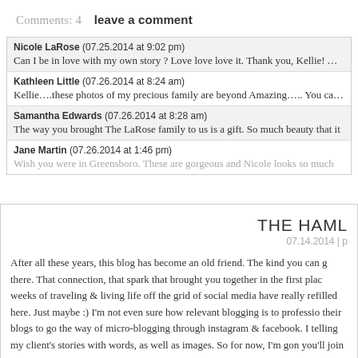Comments: 4    leave a comment
Nicole LaRose (07.25.2014 at 9:02 pm)
Can I be in love with my own story ? Love love love it. Thank you, Kellie! AND
Kathleen Little (07.26.2014 at 8:24 am)
Kellie….these photos of my precious family are beyond Amazing….. You captu
Samantha Edwards (07.26.2014 at 8:28 am)
The way you brought The LaRose family to us is a gift. So much beauty that it
Jane Martin (07.26.2014 at 1:46 pm)
Wish you were in Greensboro. These are gorgeous and Nicole looks so much
THE HAML
07.14.2014 | p
After all these years, this blog has become an old friend. The kind you can g there. That connection, that spark that brought you together in the first plac weeks of traveling & living life off the grid of social media have really refilled here. Just maybe :) I'm not even sure how relevant blogging is to professio their blogs to go the way of micro-blogging through instagram & facebook. I telling my client's stories with words, as well as images. So for now, I'm gon you'll join me.
Oh, and I just finished a mini-tour of the SC coast & will be booking another will be posted on the studio's facebook page, if you're hoping to grab a s